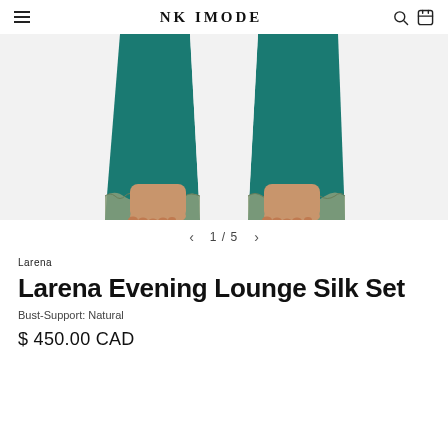NK IMODE
[Figure (photo): Product photo showing the lower half of a model wearing teal/dark green wide-leg silk lounge pants with lace trim at the hem, standing barefoot on a white background.]
1 / 5
Larena
Larena Evening Lounge Silk Set
Bust-Support: Natural
$ 450.00 CAD